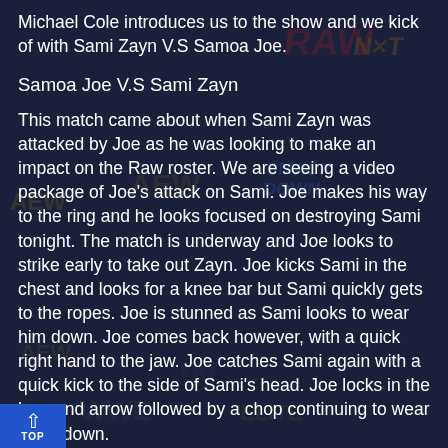Michael Cole introduces us to the show and we kick of with Sami Zayn V.S Samoa Joe.
Samoa Joe V.S Sami Zayn
This match came about when Sami Zayn was attacked by Joe as he was looking to make an impact on the Raw roster. We are seeing a video package of Joe's attack on Sami. Joe makes his way to the ring and he looks focused on destroying Sami tonight. The match is underway and Joe looks to strike early to take out Zayn. Joe kicks Sami in the chest and looks for a knee bar but Sami quickly gets to the ropes. Joe is stunned as Sami looks to wear him down. Joe comes back however, with a quick right hand to the jaw. Joe catches Sami again with a quick kick to the side of Sami's head. Joe locks in the bow and arrow followed by a chop continuing to wear Sami down.
Sami tried to fight back with punches but Joe takes him down with a leg sweep, stopping Sami's momentum. Sami